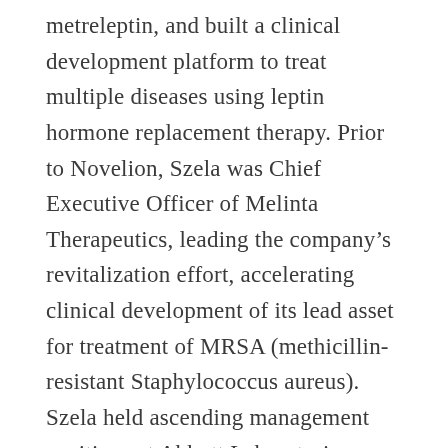metreleptin, and built a clinical development platform to treat multiple diseases using leptin hormone replacement therapy. Prior to Novelion, Szela was Chief Executive Officer of Melinta Therapeutics, leading the company's revitalization effort, accelerating clinical development of its lead asset for treatment of MRSA (methicillin-resistant Staphylococcus aureus). Szela held ascending management positions at Abbott Laboratories including President of the company's $8 billion U.S. pharmaceutical business, developing global brands such as Humira®, and serving as Vice President for global strategic marketing and services. Szela currently serves as a member of the Board of Directors for Coherus Biosciences. Szela earned an